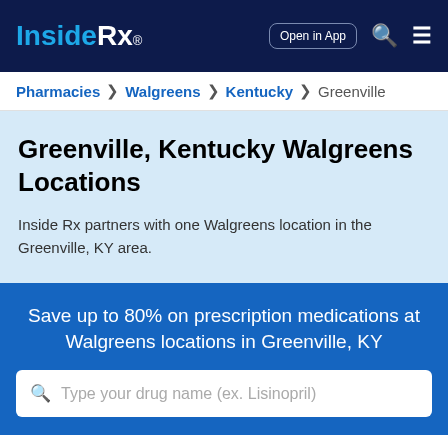Inside Rx® | Open in App
Pharmacies > Walgreens > Kentucky > Greenville
Greenville, Kentucky Walgreens Locations
Inside Rx partners with one Walgreens location in the Greenville, KY area.
Save up to 80% on prescription medications at Walgreens locations in Greenville, KY
Type your drug name (ex. Lisinopril)